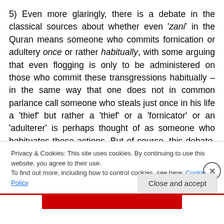5) Even more glaringly, there is a debate in the classical sources about whether even 'zani' in the Quran means someone who commits fornication or adultery once or rather habitually, with some arguing that even flogging is only to be administered on those who commit these transgressions habitually – in the same way that one does not in common parlance call someone who steals just once in his life a 'thief' but rather a 'thief' or a 'fornicator' or an 'adulterer' is perhaps thought of as someone who habituates these actions. But of course, this debate, whatever its merits or demerits, is entirely ignored today
Privacy & Cookies: This site uses cookies. By continuing to use this website, you agree to their use.
To find out more, including how to control cookies, see here: Cookie Policy
Close and accept